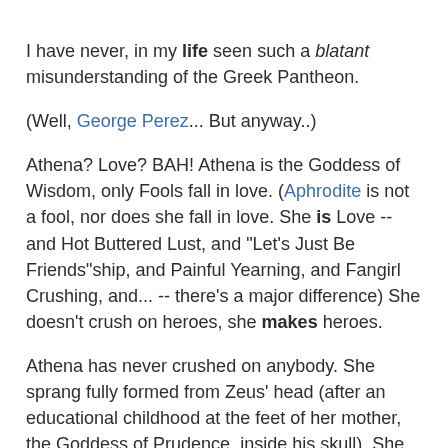I have never, in my life seen such a blatant misunderstanding of the Greek Pantheon.
(Well, George Perez... But anyway..)
Athena? Love? BAH! Athena is the Goddess of Wisdom, only Fools fall in love. (Aphrodite is not a fool, nor does she fall in love. She is Love -- and Hot Buttered Lust, and "Let's Just Be Friends"ship, and Painful Yearning, and Fangirl Crushing, and... -- there's a major difference) She doesn't crush on heroes, she makes heroes.
Athena has never crushed on anybody. She sprang fully formed from Zeus' head (after an educational childhood at the feet of her mother, the Goddess of Prudence, inside his skull). She bypassed puberty and the silly girlish afflictions therein. Arguably, she still considered boys "icky" unless they were doing interesting things like fighting. There was a reason Aphrodite had to resort to mocking her appearance, it was because her usual method of revenge simply didn't